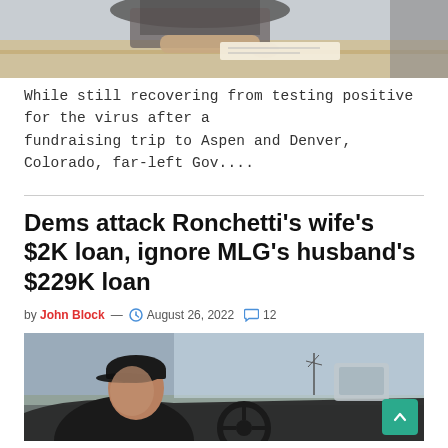[Figure (photo): Partial photo of a person sitting at a desk signing documents, cropped at top of page]
While still recovering from testing positive for the virus after a fundraising trip to Aspen and Denver, Colorado, far-left Gov....
Dems attack Ronchetti's wife's $2K loan, ignore MLG's husband's $229K loan
by John Block — August 26, 2022  12
[Figure (photo): Photo of a man wearing a black baseball cap sitting in the driver's seat of a vehicle, looking slightly upward, with a flat landscape visible through the windshield]